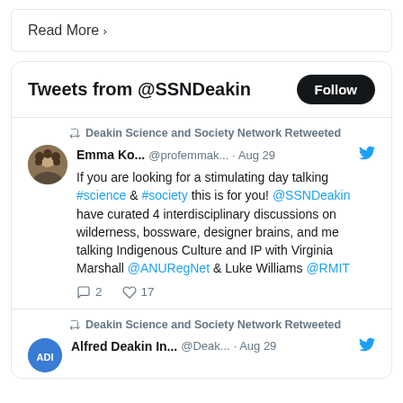Read More ›
Tweets from @SSNDeakin
Deakin Science and Society Network Retweeted
Emma Ko... @profemmak... · Aug 29
If you are looking for a stimulating day talking #science & #society this is for you! @SSNDeakin have curated 4 interdisciplinary discussions on wilderness, bossware, designer brains, and me talking Indigenous Culture and IP with Virginia Marshall @ANURegNet & Luke Williams @RMIT
2  17
Deakin Science and Society Network Retweeted
Alfred Deakin In... @Deak... · Aug 29